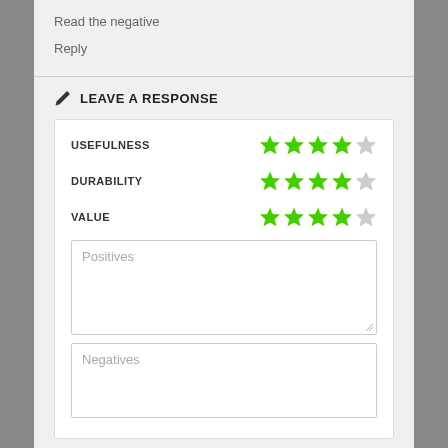Read the negative
Reply
LEAVE A RESPONSE
USEFULNESS — 4 out of 5 stars
DURABILITY — 4 out of 5 stars
VALUE — 4 out of 5 stars
Positives (textarea placeholder)
Negatives (textarea placeholder)